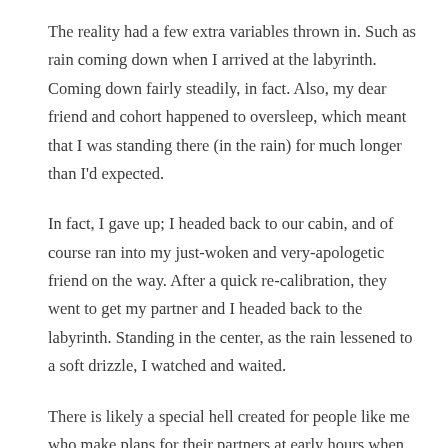The reality had a few extra variables thrown in. Such as rain coming down when I arrived at the labyrinth. Coming down fairly steadily, in fact. Also, my dear friend and cohort happened to oversleep, which meant that I was standing there (in the rain) for much longer than I'd expected.
In fact, I gave up; I headed back to our cabin, and of course ran into my just-woken and very-apologetic friend on the way. After a quick re-calibration, they went to get my partner and I headed back to the labyrinth. Standing in the center, as the rain lessened to a soft drizzle, I watched and waited.
There is likely a special hell created for people like me who make plans for their partners at early hours when caffeine is not readily available. My poor partner had not had days and weeks of looking forward to this moment, and being faced with the task of